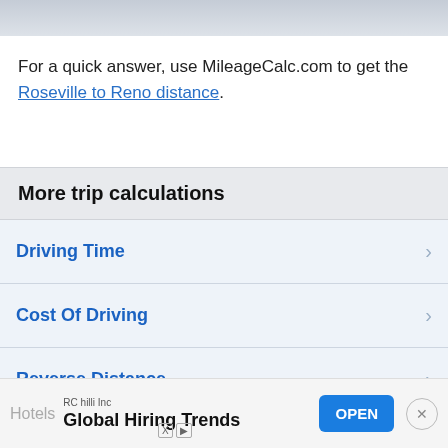For a quick answer, use MileageCalc.com to get the Roseville to Reno distance.
More trip calculations
Driving Time
Cost Of Driving
Reverse Distance
Halfway
Stopping Points
Hotels
RC hilli Inc
Global Hiring Trends
OPEN